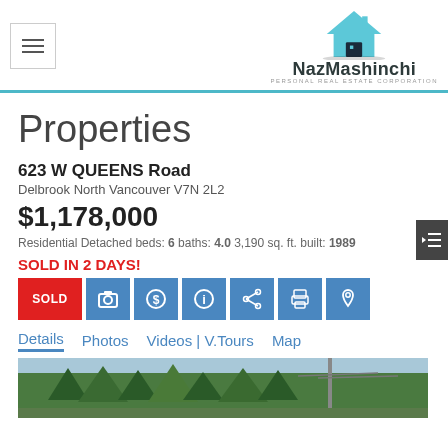NazMashinchi Personal Real Estate Corporation
Properties
623 W QUEENS Road
Delbrook North Vancouver V7N 2L2
$1,178,000
Residential Detached beds: 6 baths: 4.0 3,190 sq. ft. built: 1989
SOLD IN 2 DAYS!
[Figure (screenshot): Row of action buttons: SOLD (red), camera, dollar sign, info, share, print, map pin (all blue)]
Details  Photos  Videos | V.Tours  Map
[Figure (photo): Outdoor photo of property showing green trees and street]